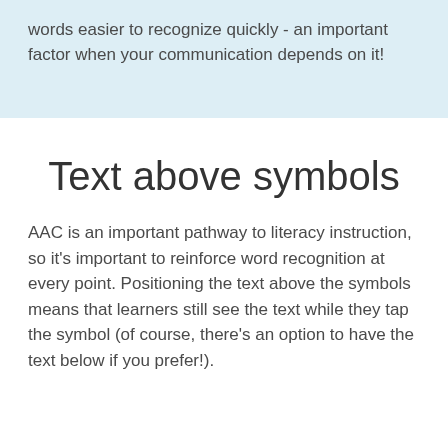words easier to recognize quickly - an important factor when your communication depends on it!
Text above symbols
AAC is an important pathway to literacy instruction, so it's important to reinforce word recognition at every point. Positioning the text above the symbols means that learners still see the text while they tap the symbol (of course, there's an option to have the text below if you prefer!).